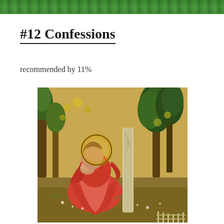[Figure (illustration): Decorative green header banner with foliage/nature imagery at top of page]
#12 Confessions
recommended by 11%
[Figure (photo): Medieval religious painting (Fra Angelico style) depicting a figure in red robes with a golden halo, sitting beneath a tree in a garden, covering their face with their hand in a gesture of weeping or prayer. The background shows trees with yellow and green foliage.]